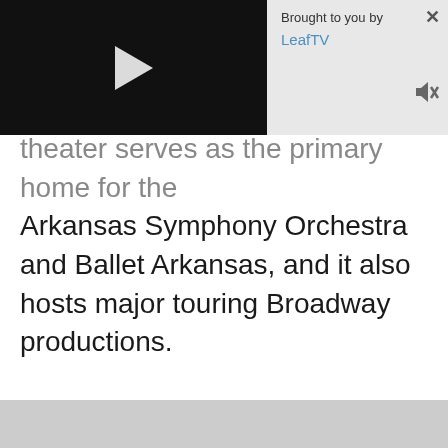[Figure (screenshot): Video player thumbnail showing a black screen with a white play button triangle in the center]
Brought to you by LeafTV
theater serves as the primary home for the Arkansas Symphony Orchestra and Ballet Arkansas, and it also hosts major touring Broadway productions.